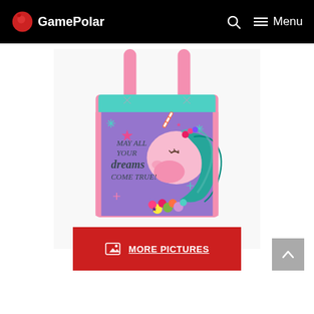GamePolar
[Figure (photo): A pink tote bag with a purple panel featuring a cartoon unicorn with teal/green hair and flowers, decorated with stars and sparkles, and the text 'May all your dreams come true!']
MORE PICTURES